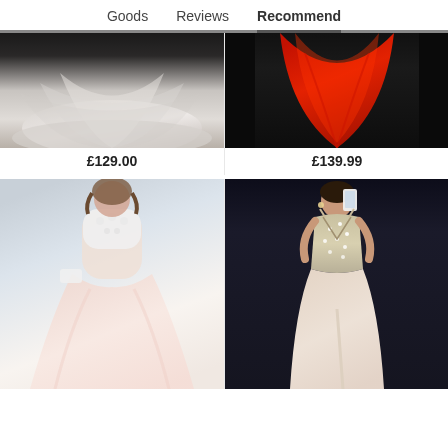Goods    Reviews    Recommend
[Figure (photo): White/grey tulle ball gown dress on dark background, floor length, showing bottom skirt spread out]
£129.00
[Figure (photo): Red chiffon formal evening gown on dark background, floor length, showing skirt spread]
£139.99
[Figure (photo): Woman wearing pink maxi dress with white lace top, holding white clutch, outdoors with bridge in background]
[Figure (photo): Woman taking mirror selfie wearing champagne/blush gown with crystal embellished bodice and front slit]